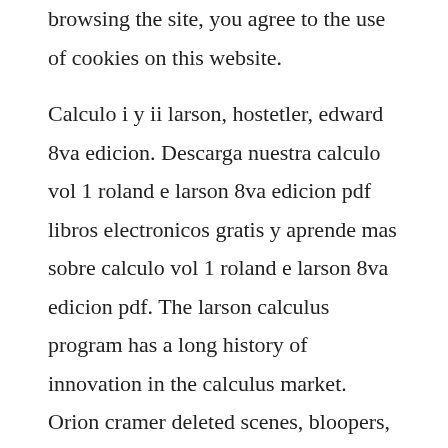browsing the site, you agree to the use of cookies on this website.
Calculo i y ii larson, hostetler, edward 8va edicion. Descarga nuestra calculo vol 1 roland e larson 8va edicion pdf libros electronicos gratis y aprende mas sobre calculo vol 1 roland e larson 8va edicion pdf. The larson calculus program has a long history of innovation in the calculus market. Orion cramer deleted scenes, bloopers, extras recommended for you. Calculo y geometria analitica larson vol 2 solucionario. Arctic inuit art 22 billion reasons why butter will